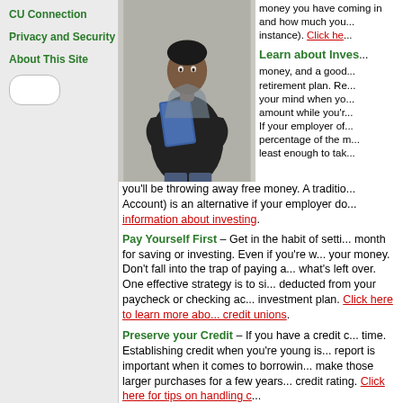CU Connection
Privacy and Security
About This Site
[Figure (photo): Person in dark clothing holding blue folder/binder, standing with arms crossed]
money you have coming in and how much you... instance). Click here...
Learn about Inves...
money, and a good... retirement plan. Re... your mind when yo... amount while you'r... If your employer of... percentage of the m... least enough to tak... you'll be throwing away free money. A traditio... Account) is an alternative if your employer do... information about investing.
Pay Yourself First
Pay Yourself First – Get in the habit of setti... month for saving or investing. Even if you're w... your money. Don't fall into the trap of paying a... what's left over. One effective strategy is to si... deducted from your paycheck or checking ac... investment plan. Click here to learn more abo... credit unions.
Preserve your Credit
Preserve your Credit – If you have a credit c... time. Establishing credit when you're young is... report is important when it comes to borrowin... make those larger purchases for a few years... credit rating. Click here for tips on handling c...